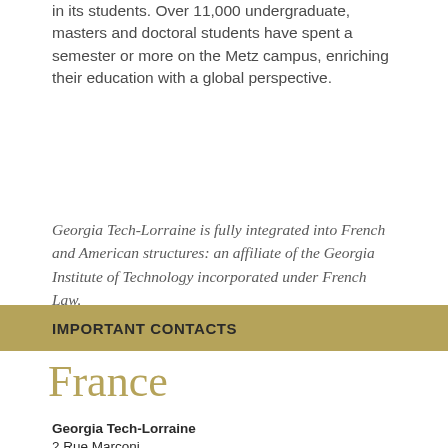in its students. Over 11,000 undergraduate, masters and doctoral students have spent a semester or more on the Metz campus, enriching their education with a global perspective.
Georgia Tech-Lorraine is fully integrated into French and American structures: an affiliate of the Georgia Institute of Technology incorporated under French Law.
IMPORTANT CONTACTS
France
Georgia Tech-Lorraine
2 Rue Marconi